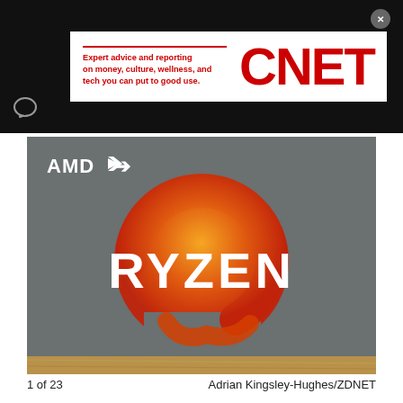Expert advice and reporting on money, culture, wellness, and tech you can put to good use. CNET
[Figure (photo): Photo of AMD Ryzen processor box on a wooden surface. The box is grey with the AMD logo in the top left and a large orange/red Ryzen logo circle in the center with white RYZEN text.]
1 of 23   Adrian Kingsley-Hughes/ZDNET